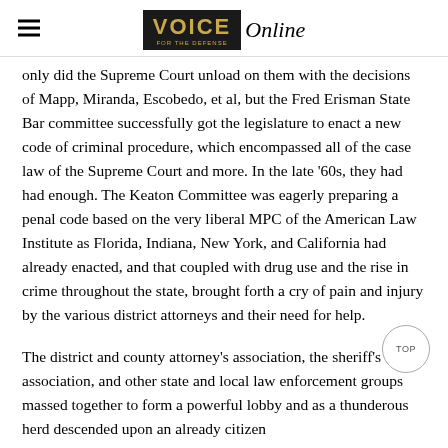VOICE Online
only did the Supreme Court unload on them with the decisions of Mapp, Miranda, Escobedo, et al, but the Fred Erisman State Bar committee successfully got the legislature to enact a new code of criminal procedure, which encompassed all of the case law of the Supreme Court and more. In the late ‘60s, they had had enough. The Keaton Committee was eagerly preparing a penal code based on the very liberal MPC of the American Law Institute as Florida, Indiana, New York, and California had already enacted, and that coupled with drug use and the rise in crime throughout the state, brought forth a cry of pain and injury by the various district attorneys and their need for help.
The district and county attorney’s association, the sheriff’s association, and other state and local law enforcement groups massed together to form a powerful lobby and as a thunderous herd descended upon an already citizen